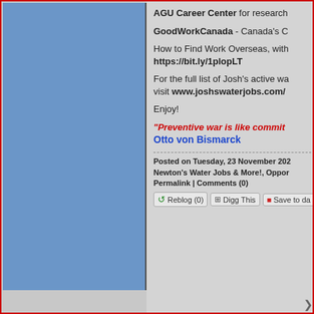AGU Career Center for research...
GoodWorkCanada - Canada's C...
How to Find Work Overseas, with... https://bit.ly/1plopLT
For the full list of Josh's active wa... visit www.joshswaterjobs.com/...
Enjoy!
"Preventive war is like commit...
Otto von Bismarck
Posted on Tuesday, 23 November 202... Newton's Water Jobs & More!, Oppor... Permalink | Comments (0)
Reblog (0) | Digg This | Save to da...